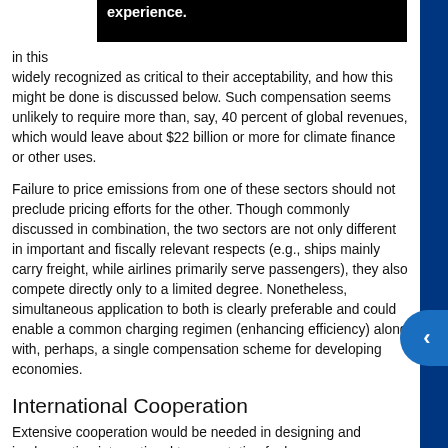in this experience. widely recognized as critical to their acceptability, and how this might be done is discussed below. Such compensation seems unlikely to require more than, say, 40 percent of global revenues, which would leave about $22 billion or more for climate finance or other uses.
Failure to price emissions from one of these sectors should not preclude pricing efforts for the other. Though commonly discussed in combination, the two sectors are not only different in important and fiscally relevant respects (e.g., ships mainly carry freight, while airlines primarily serve passengers), they also compete directly only to a limited degree. Nonetheless, simultaneous application to both is clearly preferable and could enable a common charging regimen (enhancing efficiency) along with, perhaps, a single compensation scheme for developing economies.
International Cooperation
Extensive cooperation would be needed in designing and implementing international transportation fuel